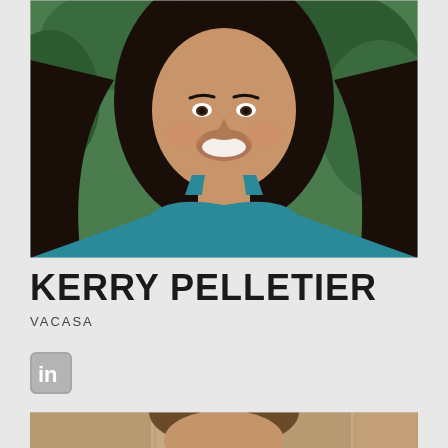[Figure (photo): Portrait photo of Kerry Pelletier, a woman with long dark hair, smiling, wearing a teal/blue top, with green foliage in the background.]
KERRY PELLETIER
VACASA
[Figure (logo): LinkedIn logo icon — rounded square with 'in' text]
[Figure (photo): Partial portrait photo of another person visible at the bottom of the page, showing top of head and shoulders against a stone/beige background.]